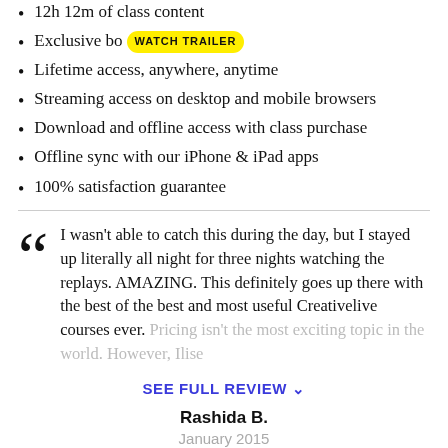12h 12m of class content
Exclusive bo… [WATCH TRAILER badge]
Lifetime access, anywhere, anytime
Streaming access on desktop and mobile browsers
Download and offline access with class purchase
Offline sync with our iPhone & iPad apps
100% satisfaction guarantee
I wasn't able to catch this during the day, but I stayed up literally all night for three nights watching the replays. AMAZING. This definitely goes up there with the best of the best and most useful Creativelive courses ever. Pricing isn't the most exciting topic in the world. However, Ilise…
SEE FULL REVIEW ▾
Rashida B.
January 2015